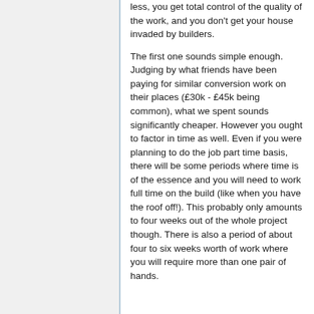less, you get total control of the quality of the work, and you don't get your house invaded by builders.
The first one sounds simple enough. Judging by what friends have been paying for similar conversion work on their places (£30k - £45k being common), what we spent sounds significantly cheaper. However you ought to factor in time as well. Even if you were planning to do the job part time basis, there will be some periods where time is of the essence and you will need to work full time on the build (like when you have the roof off!). This probably only amounts to four weeks out of the whole project though. There is also a period of about four to six weeks worth of work where you will require more than one pair of hands.